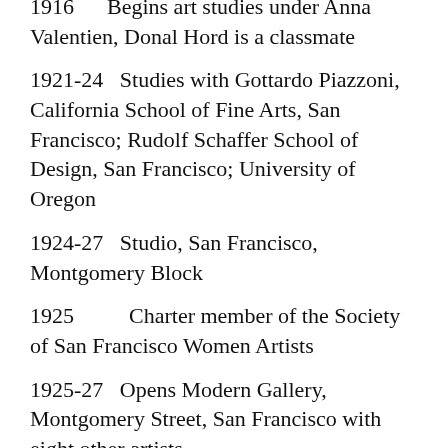1916   Begins art studies under Anna Valentien, Donal Hord is a classmate
1921-24   Studies with Gottardo Piazzoni, California School of Fine Arts, San Francisco; Rudolf Schaffer School of Design, San Francisco; University of Oregon
1924-27   Studio, San Francisco, Montgomery Block
1925         Charter member of the Society of San Francisco Women Artists
1925-27   Opens Modern Gallery, Montgomery Street, San Francisco with eight other artists
1928-29   Travels to Samoa, becomes the adopted daughter of the tribe's chief and lives as a member of the tribe, painting the